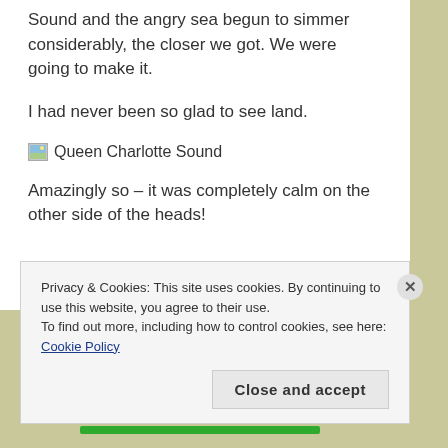Sound and the angry sea begun to simmer considerably, the closer we got. We were going to make it.
I had never been so glad to see land.
[Figure (photo): Broken image placeholder labeled 'Queen Charlotte Sound']
Amazingly so – it was completely calm on the other side of the heads!
Privacy & Cookies: This site uses cookies. By continuing to use this website, you agree to their use.
To find out more, including how to control cookies, see here: Cookie Policy